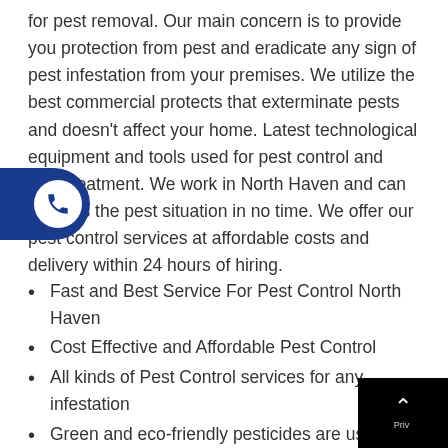for pest removal. Our main concern is to provide you protection from pest and eradicate any sign of pest infestation from your premises. We utilize the best commercial protects that exterminate pests and doesn't affect your home. Latest technological equipment and tools used for pest control and pest treatment. We work in North Haven and can address the pest situation in no time. We offer our pest control services at affordable costs and delivery within 24 hours of hiring.
Fast and Best Service For Pest Control North Haven
Cost Effective and Affordable Pest Control
All kinds of Pest Control services for any infestation
Green and eco-friendly pesticides are used
No obligation free quotes
100% customer satisfaction
Latest tools and equipment